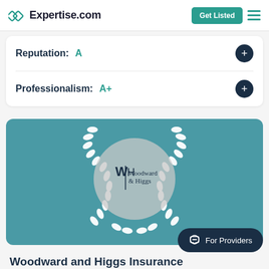Expertise.com | Get Listed
Reputation: A
Professionalism: A+
[Figure (logo): Woodward & Higgs Insurance logo inside a laurel wreath on a teal background]
Woodward and Higgs Insurance